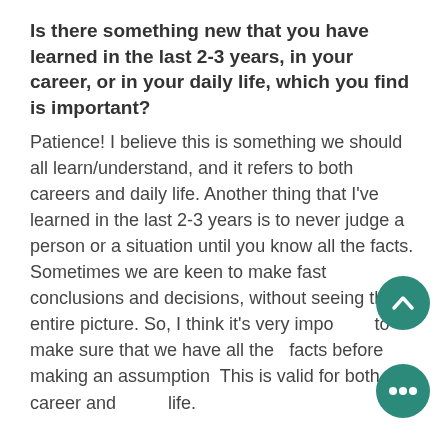Is there something new that you have learned in the last 2-3 years, in your career, or in your daily life, which you find is important?
Patience! I believe this is something we should all learn/understand, and it refers to both careers and daily life. Another thing that I've learned in the last 2-3 years is to never judge a person or a situation until you know all the facts. Sometimes we are keen to make fast conclusions and decisions, without seeing the entire picture. So, I think it's very important to make sure that we have all the facts before making an assumption. This is valid for both career and life.